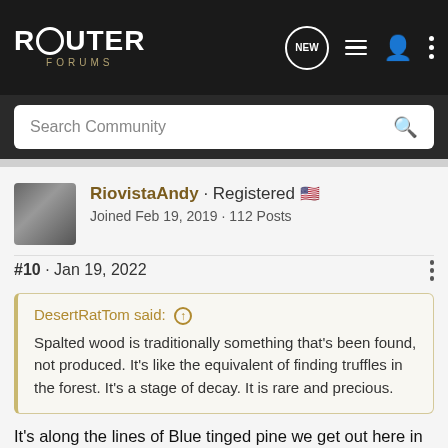ROUTER FORUMS
Search Community
RiovistaAndy · Registered
Joined Feb 19, 2019 · 112 Posts
#10 · Jan 19, 2022
DesertRatTom said: ↑
Spalted wood is traditionally something that's been found, not produced. It's like the equivalent of finding truffles in the forest. It's a stage of decay. It is rare and precious.
It's along the lines of Blue tinged pine we get out here in the West. It's from logging trees that were killed by the pine beetles. And is clear cut at super cheap prices from the State and Federal govs.